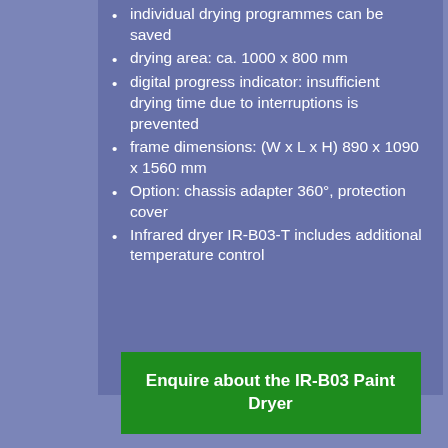individual drying programmes can be saved
drying area: ca. 1000 x 800 mm
digital progress indicator: insufficient drying time due to interruptions is prevented
frame dimensions: (W x L x H) 890 x 1090 x 1560 mm
Option: chassis adapter 360°, protection cover
Infrared dryer IR-B03-T includes additional temperature control
Enquire about the IR-B03 Paint Dryer